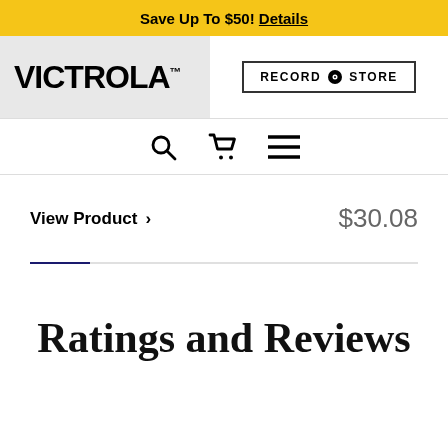Save Up To $50! Details
[Figure (logo): Victrola brand logo in bold black text on grey background]
[Figure (logo): Record Store button with circle icon]
[Figure (infographic): Navigation icons: search magnifier, shopping cart, hamburger menu]
View Product > $30.08
Ratings and Reviews